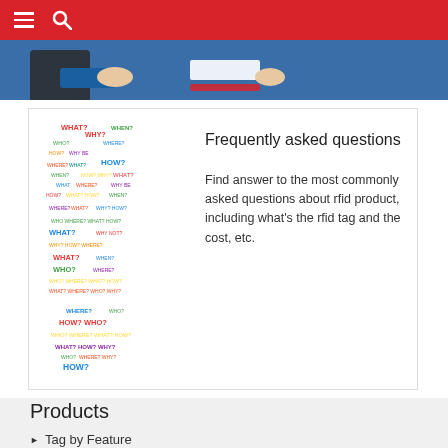Navigation bar with menu and search icons
[Figure (illustration): Blue banner strip with partial illustration of hands and document at the top of the page]
[Figure (illustration): Word cloud in the shape of a question mark containing words: WHY?, WHAT?, WHEN?, WHERE?, HOW?, WHO?, etc. in multiple colors]
Frequently asked questions
Find answer to the most commonly asked questions about rfid product, including what's the rfid tag and the cost, etc.
Products
Tag by Feature
RFID Wristband